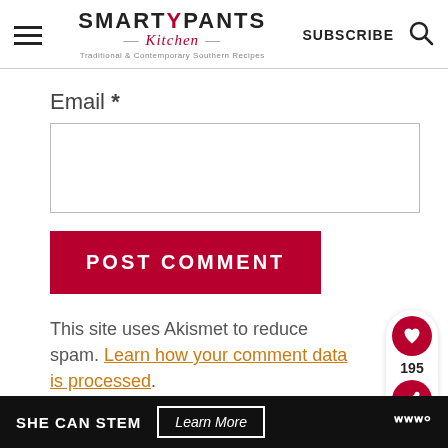SMARTYPANTS Kitchen — Traditional & Contemporary Southern Recipes — SUBSCRIBE
Email *
POST COMMENT
This site uses Akismet to reduce spam. Learn how your comment data is processed.
SHE CAN STEM Learn More